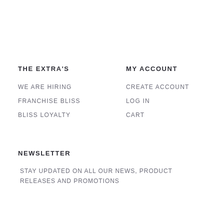THE EXTRA'S
MY ACCOUNT
WE ARE HIRING
FRANCHISE BLISS
BLISS LOYALTY
CREATE ACCOUNT
LOG IN
CART
NEWSLETTER
STAY UPDATED ON ALL OUR NEWS, PRODUCT RELEASES AND PROMOTIONS